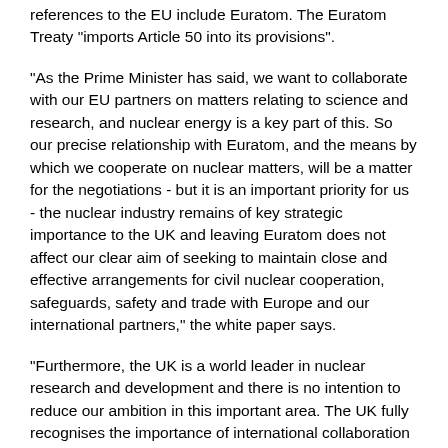references to the EU include Euratom. The Euratom Treaty "imports Article 50 into its provisions".
"As the Prime Minister has said, we want to collaborate with our EU partners on matters relating to science and research, and nuclear energy is a key part of this. So our precise relationship with Euratom, and the means by which we cooperate on nuclear matters, will be a matter for the negotiations - but it is an important priority for us - the nuclear industry remains of key strategic importance to the UK and leaving Euratom does not affect our clear aim of seeking to maintain close and effective arrangements for civil nuclear cooperation, safeguards, safety and trade with Europe and our international partners," the white paper says.
"Furthermore, the UK is a world leader in nuclear research and development and there is no intention to reduce our ambition in this important area. The UK fully recognises the importance of international collaboration in nuclear research and development and we will ensure this continues by seeking alternative arrangements," it adds.
The Euratom Treaty provides the legal framework for civil nuclear power generation and radioactive waste management for members of the European Community, all of which are EU…